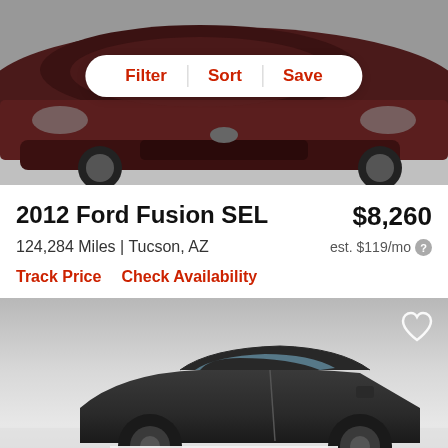[Figure (photo): Front view of a dark maroon/burgundy 2012 Ford Fusion with Filter, Sort, Save button bar overlaid on top]
2012 Ford Fusion SEL
$8,260
124,284 Miles | Tucson, AZ
est. $119/mo
Track Price    Check Availability
[Figure (photo): Side/rear view of a dark gray sedan (partially shown), with a heart/save icon in the top right corner]